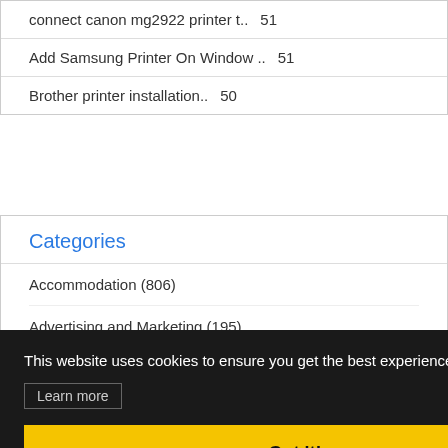connect canon mg2922 printer t.. 51
Add Samsung Printer On Window .. 51
Brother printer installation.. 50
Categories
Accommodation (806)
Advertising and Marketing (195)
Agriculture (9)
Alternative medicine (51)
Animal (48)
Arts (46)
Automotive (50)
This website uses cookies to ensure you get the best experience on our website.
Learn more
Got it!
Beauty (76)